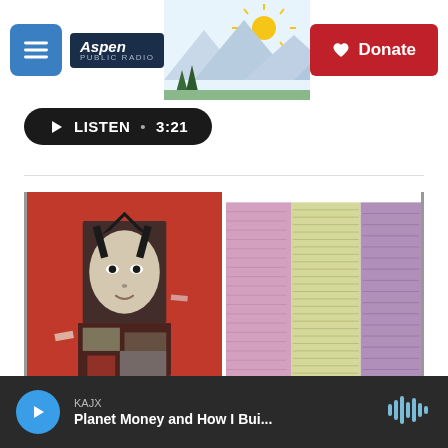[Figure (screenshot): Aspen Public Radio website header with hamburger menu button, Aspen Public Radio logo, mountain landscape illustration with sun, and a red Donate button with heart icon]
[Figure (other): Black pill-shaped Listen button with play triangle icon showing LISTEN • 3:21]
[Figure (photo): Two images side by side: left shows a collage artwork of a figure against a red background with decorative elements; right shows close-up of layered textile fabrics in pink, yellow and purple/lavender colors]
[Figure (screenshot): Bottom audio player bar showing: blue circular play button, KAJX station label, title Planet Money and How I Bui..., and audio waveform icon on the right]